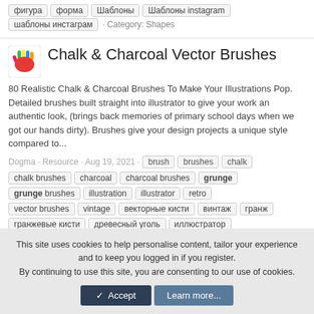фигура · форма · Шаблоны · Шаблоны instagram · шаблоны инстаграм · Category: Shapes
Chalk & Charcoal Vector Brushes
80 Realistic Chalk & Charcoal Brushes To Make Your Illustrations Pop. Detailed brushes built straight into illustrator to give your work an authentic look, (brings back memories of primary school days when we got our hands dirty). Brushes give your design projects a unique style compared to...
Dogma · Resource · Aug 19, 2021 · brush · brushes · chalk · chalk brushes · charcoal · charcoal brushes · grunge · grunge brushes · illustration · illustrator · retro · vector brushes · vintage · векторные кисти · винтаж · гранж · гранжевые кисти · древесный уголь · иллюстратор · иллюстрация · кисти · кисть · мел · меловые кисти · ретро · угольные кисти · Category: Brushes for Illustrator
This site uses cookies to help personalise content, tailor your experience and to keep you logged in if you register. By continuing to use this site, you are consenting to our use of cookies.